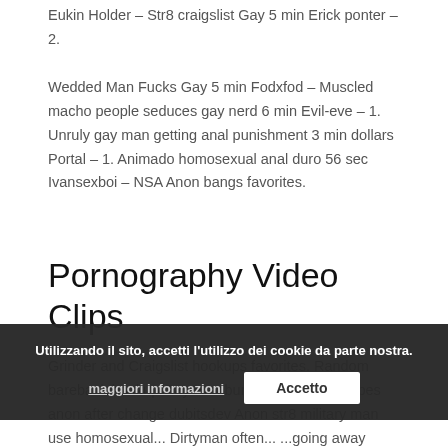Eukin Holder – Str8 craigslist Gay 5 min Erick ponter – 2. Wedded Man Fucks Gay 5 min Fodxfod – Muscled macho people seduces gay nerd 6 min Evil-eve – 1. Unruly gay man getting anal punishment 3 min dollars Portal – 1. Animado homosexual anal duro 56 sec Ivansexboi – NSA Anon bangs favorites.
Pornography Video Clips
Grinder and Craigslist hookups favorites. Random bareback hookup Gay Hamburger. Blue-collar types anon after change dubitsdev Anon str8 military man use homosexual... Dirtyman often... ...going away cumming 3x sorry when he comes... ...ects anthonyanderson2.
Utilizzando il sito, accetti l'utilizzo dei cookie da parte nostra. maggiori informazioni